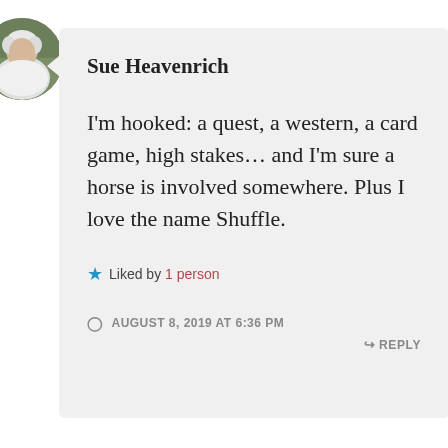[Figure (photo): Circular avatar photo of Sue Heavenrich, an older woman with white hair wearing a white shirt, outdoors with green background]
Sue Heavenrich
I'm hooked: a quest, a western, a card game, high stakes... and I'm sure a horse is involved somewhere. Plus I love the name Shuffle.
★ Liked by 1 person
AUGUST 8, 2019 AT 6:36 PM
↳ REPLY